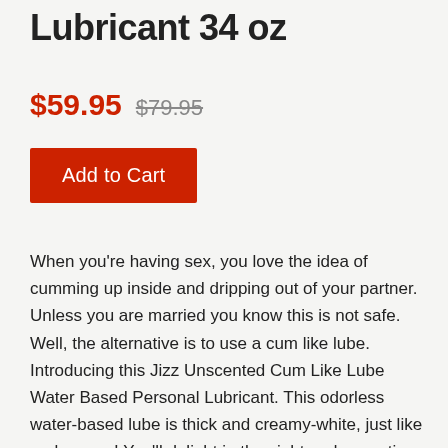Lubricant 34 oz
$59.95  $79.95
Add to Cart
When you're having sex, you love the idea of cumming up inside and dripping out of your partner. Unless you are married you know this is not safe. Well, the alternative is to use a cum like lube. Introducing this Jizz Unscented Cum Like Lube Water Based Personal Lubricant. This odorless water-based lube is thick and creamy-white, just like real semen! You'll delight in the sight and sensation of a big load squirting all over or inside you whenever you want. Use it with a partner, by yourself, or with an ejaculating dildo to create a lifelike fantasy while relieving unwanted friction during penetration. This cum like lube is ideal...